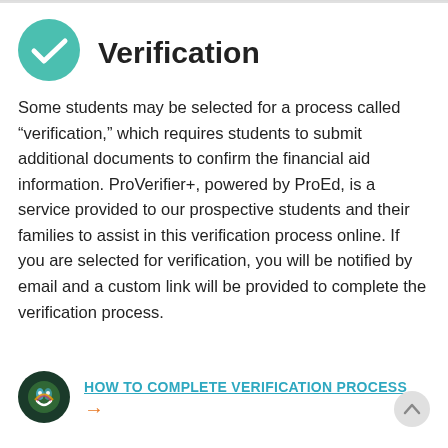Verification
Some students may be selected for a process called “verification,” which requires students to submit additional documents to confirm the financial aid information. ProVerifier+, powered by ProEd, is a service provided to our prospective students and their families to assist in this verification process online. If you are selected for verification, you will be notified by email and a custom link will be provided to complete the verification process.
HOW TO COMPLETE VERIFICATION PROCESS